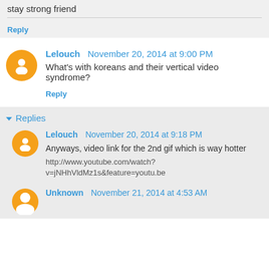stay strong friend
Reply
Lelouch  November 20, 2014 at 9:00 PM
What's with koreans and their vertical video syndrome?
Reply
Replies
Lelouch  November 20, 2014 at 9:18 PM
Anyways, video link for the 2nd gif which is way hotter

http://www.youtube.com/watch?v=jNHhVldMz1s&feature=youtu.be
Unknown  November 21, 2014 at 4:53 AM